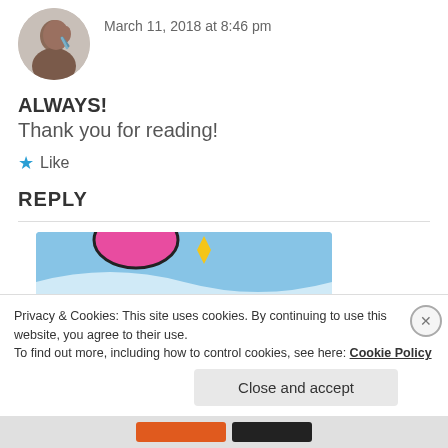[Figure (photo): Circular avatar photo of a person in profile view with earrings]
March 11, 2018 at 8:46 pm
ALWAYS!
Thank you for reading!
★ Like
REPLY
[Figure (screenshot): Tumblr Ad-Free advertisement banner with pink oval shape and yellow diamond star]
Privacy & Cookies: This site uses cookies. By continuing to use this website, you agree to their use.
To find out more, including how to control cookies, see here: Cookie Policy
Close and accept